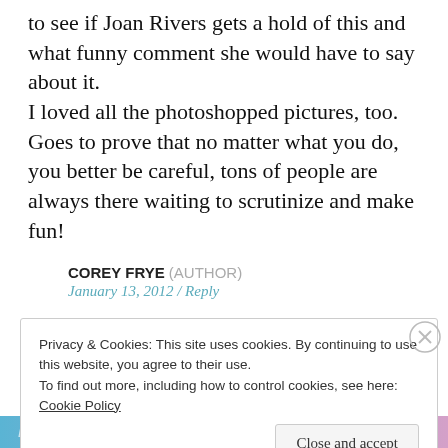to see if Joan Rivers gets a hold of this and what funny comment she would have to say about it.
I loved all the photoshopped pictures, too. Goes to prove that no matter what you do, you better be careful, tons of people are always there waiting to scrutinize and make fun!
COREY FRYE (AUTHOR)
January 13, 2012 / Reply
Privacy & Cookies: This site uses cookies. By continuing to use this website, you agree to their use.
To find out more, including how to control cookies, see here: Cookie Policy
Close and accept